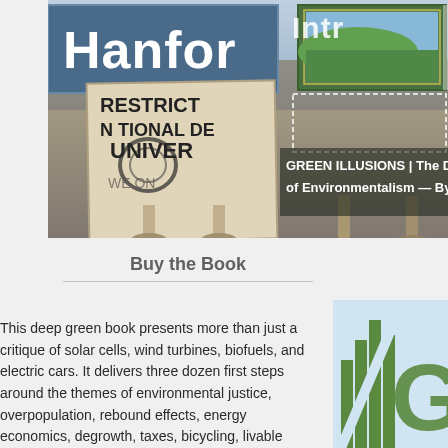[Figure (photo): Photo of outdoor signs at Hanford site, including a blue sign reading 'Hanfor', a weathered restricted/National Defense zone sign, and a green landscape scenic sign. Text overlays include 'Intr' and 'GREEN ILLUSIONS | The Dirty of Environmentalism — By O']
Buy the Book
This deep green book presents more than just a critique of solar cells, wind turbines, biofuels, and electric cars. It delivers three dozen first steps around the themes of environmental justice, overpopulation, rebound effects, energy economics, degrowth, taxes, bicycling, livable neighborhoods, and energy conservation.
[Figure (logo): Partial view of a book cover with green bar chart / letter G logo on light blue background]